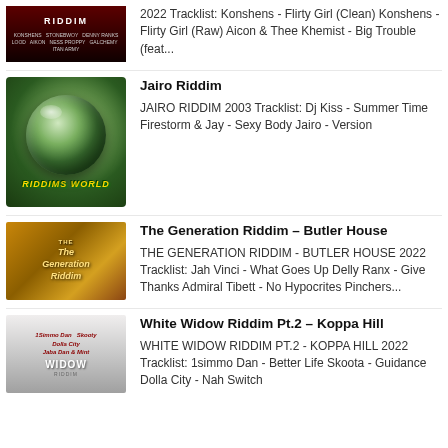2022 Tracklist: Konshens - Flirty Girl (Clean) Konshens - Flirty Girl (Raw) Aicon & Thee Khemist - Big Trouble (feat...
Jairo Riddim
JAIRO RIDDIM 2003 Tracklist: Dj Kiss - Summer Time Firestorm & Jay - Sexy Body Jairo - Version
The Generation Riddim – Butler House
THE GENERATION RIDDIM - BUTLER HOUSE 2022 Tracklist: Jah Vinci - What Goes Up Delly Ranx - Give Thanks Admiral Tibett - No Hypocrites Pinchers...
White Widow Riddim Pt.2 – Koppa Hill
WHITE WIDOW RIDDIM PT.2 - KOPPA HILL 2022 Tracklist: 1simmo Dan - Better Life Skoota - Guidance Dolla City - Nah Switch